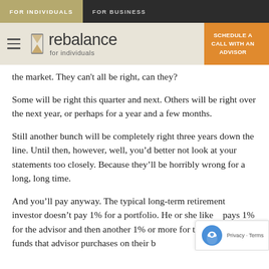FOR INDIVIDUALS | FOR BUSINESS
[Figure (logo): Rebalance for individuals logo with hamburger menu icon, hourglass icon, and orange SCHEDULE A CALL WITH AN ADVISOR button]
the market. They can't all be right, can they?
Some will be right this quarter and next. Others will be right over the next year, or perhaps for a year and a few months.
Still another bunch will be completely right three years down the line. Until then, however, well, you'd better not look at your statements too closely. Because they'll be horribly wrong for a long, long time.
And you'll pay anyway. The typical long-term retirement investor doesn't pay 1% for a portfolio. He or she likely pays 1% for the advisor and then another 1% or more for the underlying funds that advisor purchases on their b